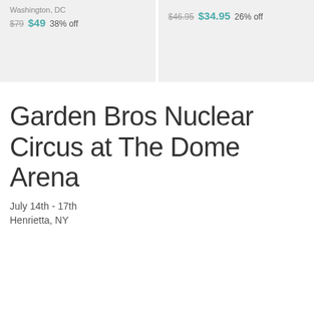Washington, DC
$79  $49  38% off
$46.95  $34.95  26% off
Garden Bros Nuclear Circus at The Dome Arena
July 14th - 17th
Henrietta, NY